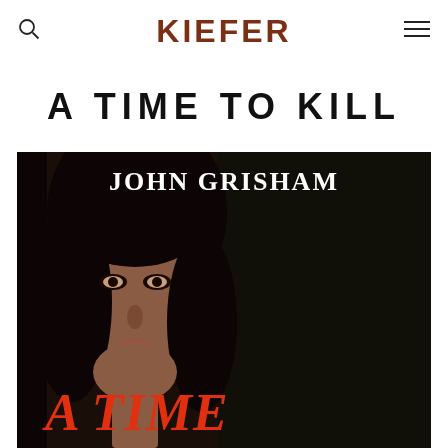KIEFER
A TIME TO KILL
[Figure (photo): Book cover of 'A Time to Kill' by John Grisham. Dark cover featuring a woman with dark hair and 'JOHN GRISHAM' text at the top in white, and 'A TIME' in large red italic letters at the bottom left.]